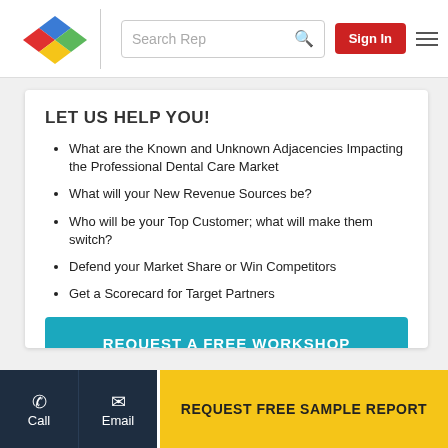[Figure (logo): Colorful diamond/rhombus logo with blue, red, yellow and green diamond shapes]
[Figure (screenshot): Search bar with 'Search Rep' placeholder and magnifying glass icon]
[Figure (screenshot): Red 'Sign In' button and hamburger menu icon]
LET US HELP YOU!
What are the Known and Unknown Adjacencies Impacting the Professional Dental Care Market
What will your New Revenue Sources be?
Who will be your Top Customer; what will make them switch?
Defend your Market Share or Win Competitors
Get a Scorecard for Target Partners
REQUEST A FREE WORKSHOP
Call
Email
REQUEST FREE SAMPLE REPORT